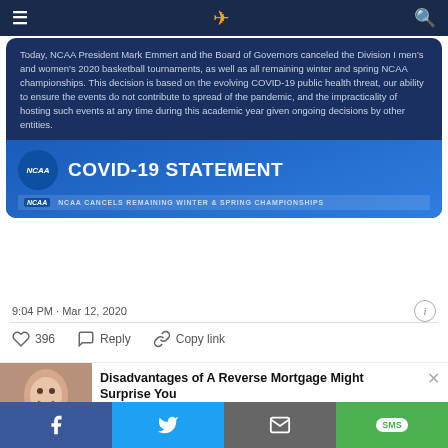NCAA COVID-19 Statement tweet page
[Figure (screenshot): NCAA COVID-19 Statement image with text about cancellation of Division I men's and women's 2020 basketball tournaments and all remaining winter and spring NCAA championships]
Today, NCAA President Mark Emmert and the Board of Governors canceled the Division I men's and women's 2020 basketball tournaments, as well as all remaining winter and spring NCAA championships. This decision is based on the evolving COVID-19 public health threat, our ability to ensure the events do not contribute to spread of the pandemic, and the impracticality of hosting such events at any time during this academic year given ongoing decisions by other entities.
9:04 PM · Mar 12, 2020
396 Reply Copy link
Disadvantages of A Reverse Mortgage Might Surprise You
Reverse Mortgage | Search Ads | Sponsored
Facebook Twitter Email SMS